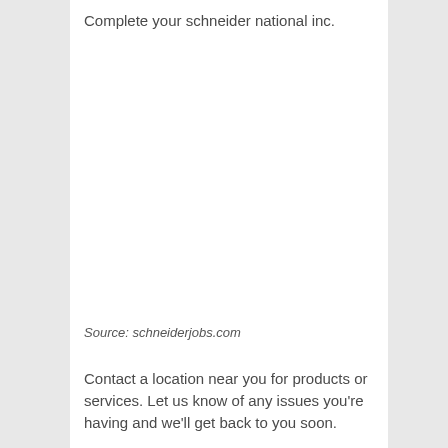Complete your schneider national inc.
Source: schneiderjobs.com
Contact a location near you for products or services. Let us know of any issues you're having and we'll get back to you soon.